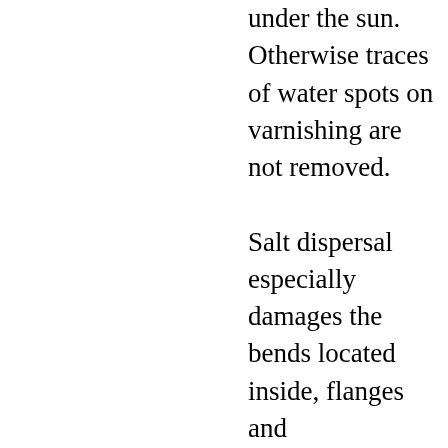under the sun. Otherwise traces of water spots on varnishing are not removed.

Salt dispersal especially damages the bends located inside, flanges and